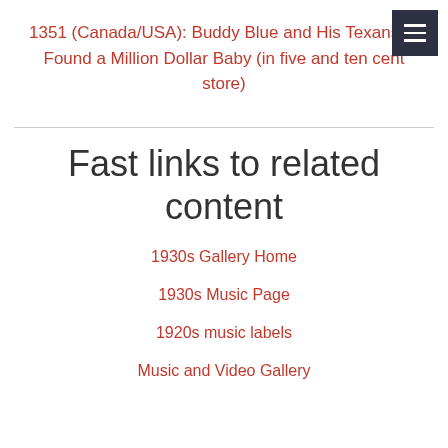[Figure (other): Dark navy hamburger menu button with three white horizontal lines]
1351 (Canada/USA): Buddy Blue and His Texans - I Found a Million Dollar Baby (in five and ten cent store)
Fast links to related content
1930s Gallery Home
1930s Music Page
1920s music labels
Music and Video Gallery